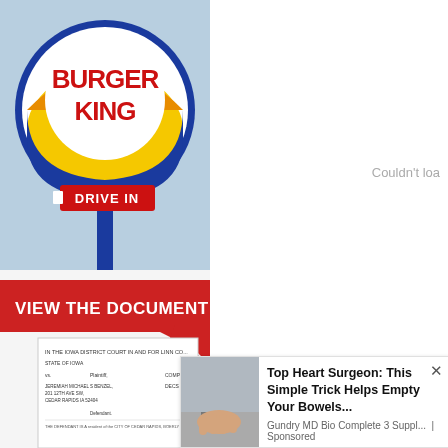[Figure (photo): Burger King Drive In sign against a light blue sky. Round sign with blue and yellow circular logo, red letters BURGER KING, and red rectangular DRIVE IN sign below on a blue pole.]
Couldn't loa
[Figure (screenshot): Banner image with red arrow shape and white text reading VIEW THE DOCUMENT, with a partial view of an Iowa District Court complaint document below.]
JANUARY 20--Incensed that a Burger King he offered, an Iowa man first threw a cell p
[Figure (photo): Photo of hands at a sink with running water and soap, partial view cut off by ad overlay.]
Top Heart Surgeon: This Simple Trick Helps Empty Your Bowels...
Gundry MD Bio Complete 3 Suppl... | Sponsored